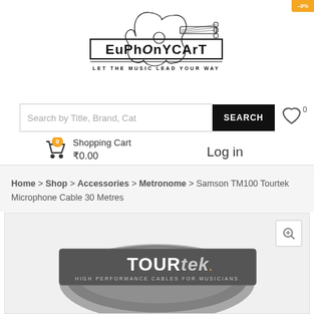[Figure (logo): EuphonyCart logo with guitar illustration and tagline LET THE MUSIC LEAD YOUR WAY]
[Figure (screenshot): Search bar with text 'Search by Title, Brand, Cat' and SEARCH button]
Shopping Cart ₹0.00
Log in
Home > Shop > Accessories > Metronome > Samson TM100 Tourtek Microphone Cable 30 Metres
[Figure (photo): Product image showing TOURtek cable packaging with gray cable coil visible]